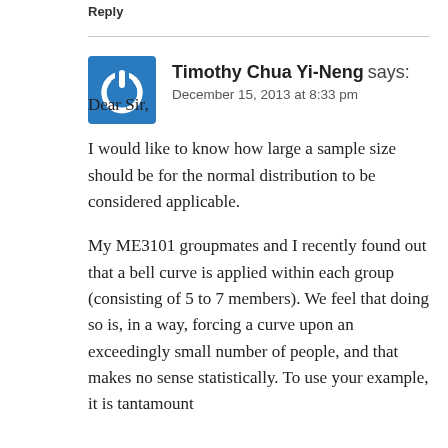Reply
[Figure (logo): Blue square avatar with white power button / circular arrow icon]
Timothy Chua Yi-Neng says:
December 15, 2013 at 8:33 pm
Dear Sir,
I would like to know how large a sample size should be for the normal distribution to be considered applicable.
My ME3101 groupmates and I recently found out that a bell curve is applied within each group (consisting of 5 to 7 members). We feel that doing so is, in a way, forcing a curve upon an exceedingly small number of people, and that makes no sense statistically. To use your example, it is tantamount